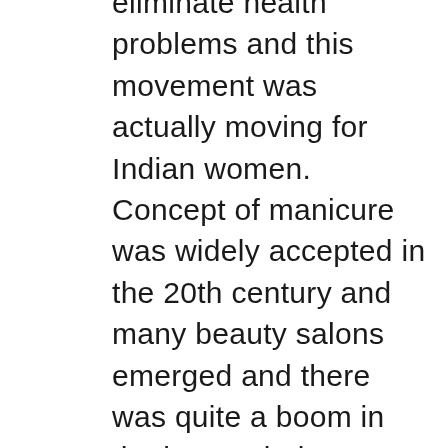eliminate health problems and this movement was actually moving for Indian women. Concept of manicure was widely accepted in the 20th century and many beauty salons emerged and there was quite a boom in the beauty industry.  People will decorate nipper with different color nail paints after a manicure. Ladies use nails as accessories and decorate them matching with their outfit. Though nail art was first started Ocean away in the 15th century it became popular only in the early years of the 21st century. Many nail salon in India is offering yearly nail care packages